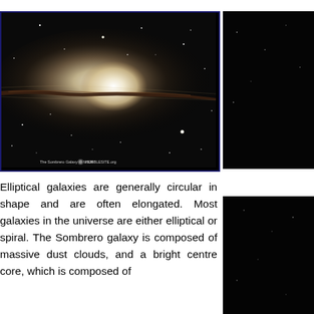[Figure (photo): Hubble Space Telescope image of the Sombrero Galaxy (M104), showing the galaxy's disk edge-on with a prominent dark dust lane across the bright elliptical core. Stars visible against black space background. Caption reads: 'The Sombrero Galaxy — M104  HUBBLESITE.org']
Elliptical galaxies are generally circular in shape and are often elongated. Most galaxies in the universe are either elliptical or spiral. The Sombrero galaxy is composed of massive dust clouds, and a bright centre core, which is composed of